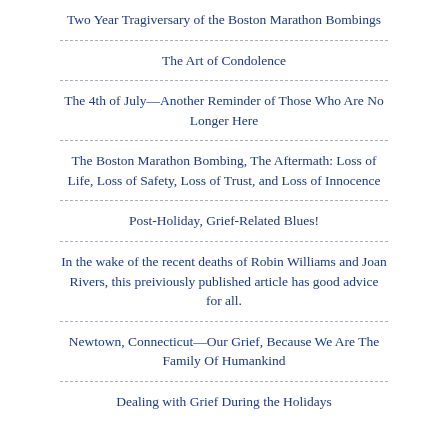Two Year Tragiversary of the Boston Marathon Bombings
The Art of Condolence
The 4th of July—Another Reminder of Those Who Are No Longer Here
The Boston Marathon Bombing, The Aftermath: Loss of Life, Loss of Safety, Loss of Trust, and Loss of Innocence
Post-Holiday, Grief-Related Blues!
In the wake of the recent deaths of Robin Williams and Joan Rivers, this preiviously published article has good advice for all.
Newtown, Connecticut—Our Grief, Because We Are The Family Of Humankind
Dealing with Grief During the Holidays